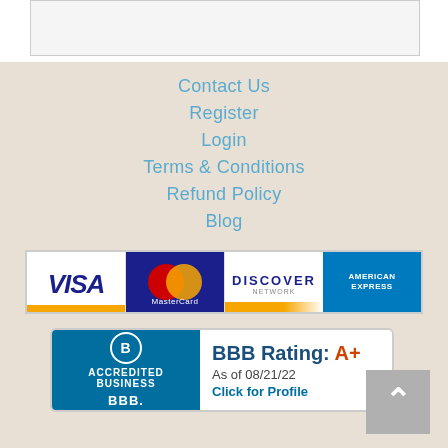[Figure (screenshot): Top portion of a white content area with a bordered box, partially visible at the top of the page]
Contact Us
Register
Login
Terms & Conditions
Refund Policy
Blog
[Figure (logo): Payment icons: Visa, MasterCard, Discover, American Express]
[Figure (logo): BBB Accredited Business badge. BBB Rating: A+. As of 08/21/22. Click for Profile.]